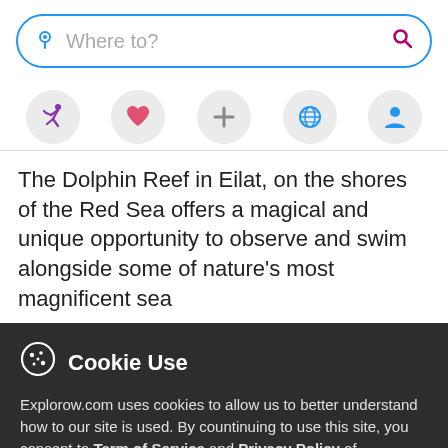[Figure (screenshot): Search bar with location pin icon on left and magnifying glass (search) icon on right, placeholder text 'Where to?', blue border rounded rectangle]
[Figure (infographic): Row of five circular icon buttons: running person (purple), heart (pink/red), plus sign (gray), globe (blue), person/profile (blue)]
The Dolphin Reef in Eilat, on the shores of the Red Sea offers a magical and unique opportunity to observe and swim alongside some of nature's most magnificent sea
Cookie Use
Explorow.com uses cookies to allow us to better understand how to our site is used. By countinuing to use this site, you consent to Term of Service and Privacy Policy of Explorow.com service.
More info
Accept all